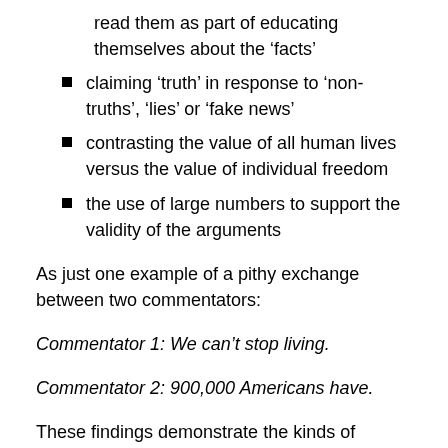read them as part of educating themselves about the 'facts'
claiming 'truth' in response to 'non-truths', 'lies' or 'fake news'
contrasting the value of all human lives versus the value of individual freedom
the use of large numbers to support the validity of the arguments
As just one example of a pithy exchange between two commentators:
Commentator 1: We can't stop living.
Commentator 2: 900,000 Americans have.
These findings demonstrate the kinds of beliefs and rationales underpinning Facebook users' concepts of